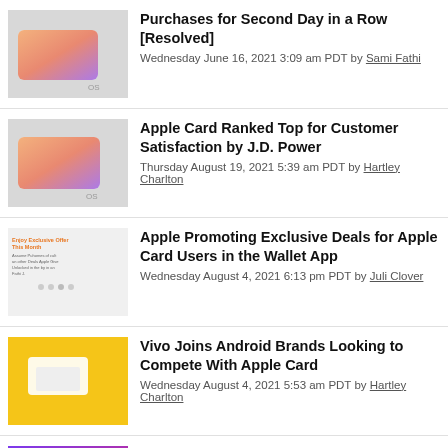Purchases for Second Day in a Row [Resolved] — Wednesday June 16, 2021 3:09 am PDT by Sami Fathi
Apple Card Ranked Top for Customer Satisfaction by J.D. Power — Thursday August 19, 2021 5:39 am PDT by Hartley Charlton
Apple Promoting Exclusive Deals for Apple Card Users in the Wallet App — Wednesday August 4, 2021 6:13 pm PDT by Juli Clover
Vivo Joins Android Brands Looking to Compete With Apple Card — Wednesday August 4, 2021 5:53 am PDT by Hartley Charlton
Apple Seeds Third Betas of iOS and iPadOS 14.6 to Developers [Update: Public Beta Available] — Monday May 10, 2021 10:13 am PDT by Juli Clover
Easy Back to School Snacking — Wegmans